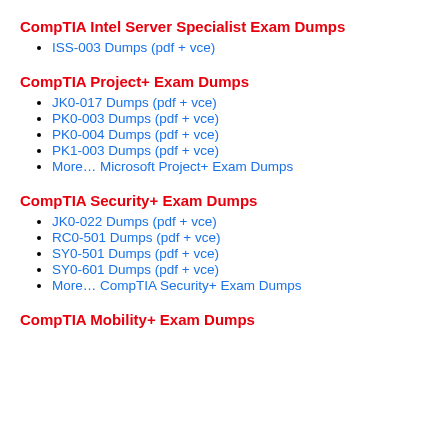CompTIA Intel Server Specialist Exam Dumps
ISS-003 Dumps (pdf + vce)
CompTIA Project+ Exam Dumps
JK0-017 Dumps (pdf + vce)
PK0-003 Dumps (pdf + vce)
PK0-004 Dumps (pdf + vce)
PK1-003 Dumps (pdf + vce)
More… Microsoft Project+ Exam Dumps
CompTIA Security+ Exam Dumps
JK0-022 Dumps (pdf + vce)
RC0-501 Dumps (pdf + vce)
SY0-501 Dumps (pdf + vce)
SY0-601 Dumps (pdf + vce)
More… CompTIA Security+ Exam Dumps
CompTIA Mobility+ Exam Dumps